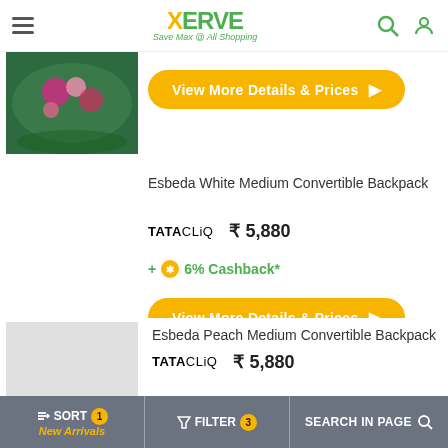XERVE - Save Max @ All Shopping
[Figure (photo): Partial product image - dark green bag/case with floral pattern]
View More Details & Prices
Esbeda White Medium Convertible Backpack
TATACLIQ  ₹ 5,880
+ 6% Cashback*
View More Details & Prices
[Figure (photo): Light gray placeholder image for Esbeda Peach Medium Convertible Backpack]
Esbeda Peach Medium Convertible Backpack
TATACLIQ  ₹ 5,880
+ 6% Cashback*
SORT New Arrivals  FILTER 3  SEARCH IN PAGE